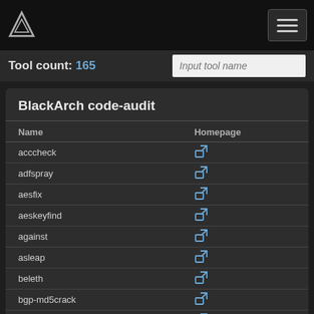BlackArch Tools — Tool count: 165
BlackArch code-audit
| Name | Homepage |
| --- | --- |
| acccheck | 🔗 |
| adfspray | 🔗 |
| aesfix | 🔗 |
| aeskeyfind | 🔗 |
| against | 🔗 |
| asleap | 🔗 |
| beleth | 🔗 |
| bgp-md5crack | 🔗 |
| bios_memimage | 🔗 |
| bkcrack | 🔗 |
| bkhive | 🔗 |
| blackhash | 🔗 |
| bob-the-butcher | 🔗 |
| brut3k1t | 🔗 |
| brute-force | 🔗 |
| bruteforce-luks | 🔗 |
| bruteforce-salted-openssl | 🔗 |
| bruteforce-wallet | 🔗 |
| brutessh | 🔗 |